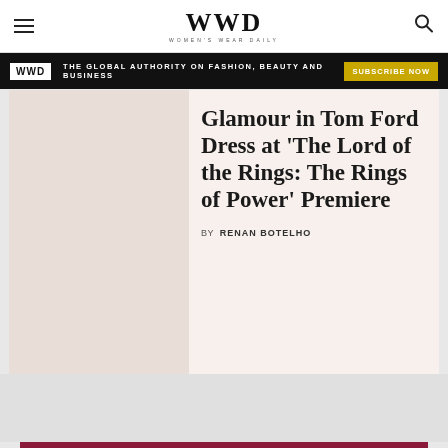WWD — Women's Wear Daily
THE GLOBAL AUTHORITY ON FASHION, BEAUTY AND BUSINESS   SUBSCRIBE NOW
Glamour in Tom Ford Dress at 'The Lord of the Rings: The Rings of Power' Premiere
BY RENAN BOTELHO
[Figure (other): WWD Wellness Forum advertisement banner with Mind. Body. Business. text and Buy Tickets button]